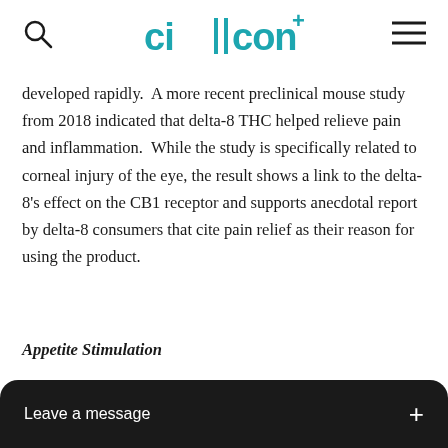CIICON+
developed rapidly.  A more recent preclinical mouse study from 2018 indicated that delta-8 THC helped relieve pain and inflammation.  While the study is specifically related to corneal injury of the eye, the result shows a link to the delta-8's effect on the CB1 receptor and supports anecdotal report by delta-8 consumers that cite pain relief as their reason for using the product.
Appetite Stimulation
A 200... at small doses of delta-8 THC l...